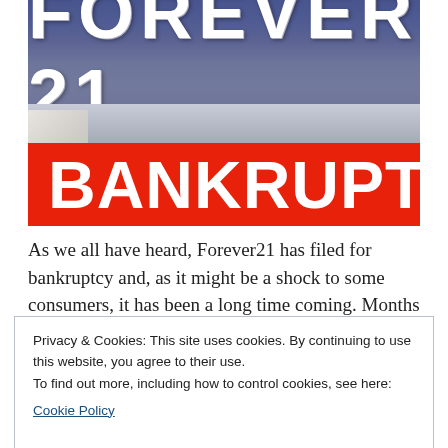[Figure (photo): Forever 21 store front photo with large white block letters 'FOREVER 21' sign, store interior visible below, overlaid with a red banner reading 'BANKRUPT' in large white bold text]
As we all have heard, Forever21 has filed for bankruptcy and, as it might be a shock to some consumers, it has been a long time coming. Months prior to Forever21's
Privacy & Cookies: This site uses cookies. By continuing to use this website, you agree to their use.
To find out more, including how to control cookies, see here:
Cookie Policy
Close and accept